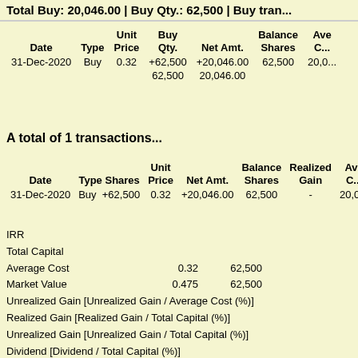Total Buy: 20,046.00 | Buy Qty.: 62,500 | Buy tran...
| Date | Type | Unit Price | Buy Qty. | Net Amt. | Balance Shares | Ave C... |
| --- | --- | --- | --- | --- | --- | --- |
| 31-Dec-2020 | Buy | 0.32 | +62,500 | +20,046.00 | 62,500 | 20,0... |
|  |  |  | 62,500 | 20,046.00 |  |  |
A total of 1 transactions...
| Date | Type | Shares | Unit Price | Net Amt. | Balance Shares | Realized Gain | Ave C... |
| --- | --- | --- | --- | --- | --- | --- | --- |
| 31-Dec-2020 | Buy | +62,500 | 0.32 | +20,046.00 | 62,500 | - | 20,0... |
IRR
Total Capital
Average Cost	0.32		62,500
Market Value	0.475		62,500
Unrealized Gain [Unrealized Gain / Average Cost (%)]
Realized Gain [Realized Gain / Total Capital (%)]
Unrealized Gain [Unrealized Gain / Total Capital (%)]
Dividend [Dividend / Total Capital (%)]
Total Return [Total Return / Total Capital (%)]
Total Buy Transaction
Total Sell Transaction